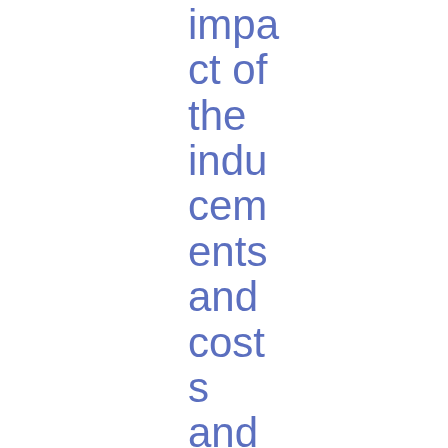impact of the inducements and costs and charges disclosure requirements under MiFID II